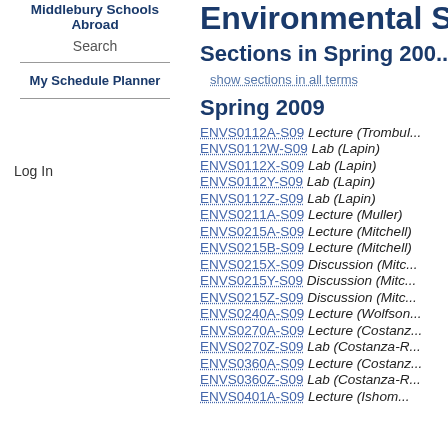Middlebury Schools Abroad
Search
My Schedule Planner
Log In
Environmental Stu...
Sections in Spring 200...
show sections in all terms
Spring 2009
ENVS0112A-S09 Lecture (Trombul...)
ENVS0112W-S09 Lab (Lapin)
ENVS0112X-S09 Lab (Lapin)
ENVS0112Y-S09 Lab (Lapin)
ENVS0112Z-S09 Lab (Lapin)
ENVS0211A-S09 Lecture (Muller)
ENVS0215A-S09 Lecture (Mitchell)
ENVS0215B-S09 Lecture (Mitchell)
ENVS0215X-S09 Discussion (Mitc...)
ENVS0215Y-S09 Discussion (Mitc...)
ENVS0215Z-S09 Discussion (Mitc...)
ENVS0240A-S09 Lecture (Wolfson...)
ENVS0270A-S09 Lecture (Costanz...)
ENVS0270Z-S09 Lab (Costanza-R...)
ENVS0360A-S09 Lecture (Costanz...)
ENVS0360Z-S09 Lab (Costanza-R...)
ENVS0401A-S09 Lecture (Ishom...)